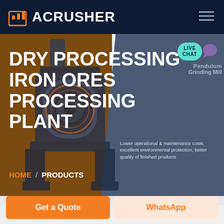ACRUSHER
DRY PROCESSING IRON ORES PROCESSING PLANT
Pendulum Grinding Mill
Lower operational & maintenance costs, excellent environmental protection, better quality of finished products
HOME / PRODUCTS
LIVE CHAT
Get a Quote
WhatsApp